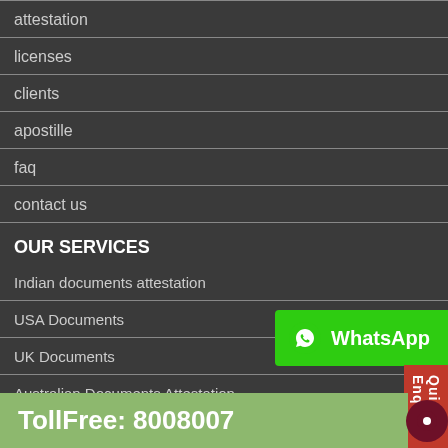attestation
licenses
clients
apostille
faq
contact us
OUR SERVICES
Indian documents attestation
USA Documents
UK Documents
Australian Documents Attestation
ificate
[Figure (logo): WhatsApp button with icon and text]
Quick Enquiry
TollFree: 8008007